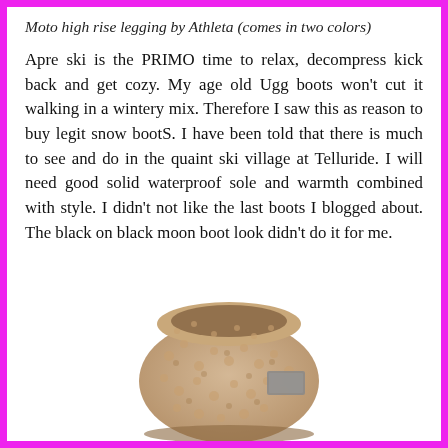Moto high rise legging by Athleta (comes in two colors)
Apre ski is the PRIMO time to relax, decompress kick back and get cozy. My age old Ugg boots won't cut it walking in a wintery mix. Therefore I saw this as reason to buy legit snow bootS. I have been told that there is much to see and do in the quaint ski village at Telluride. I will need good solid waterproof sole and warmth combined with style. I didn't not like the last boots I blogged about. The black on black moon boot look didn't do it for me.
[Figure (photo): A tan/beige sherpa-textured snow boot with a small rectangular grey label patch on the side, shown from above against a white background.]